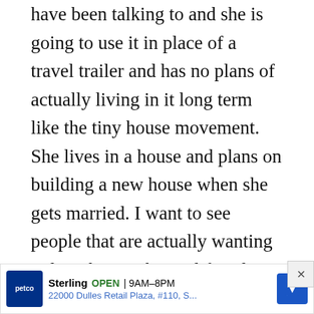have been talking to and she is going to use it in place of a travel trailer and has no plans of actually living in it long term like the tiny house movement. She lives in a house and plans on building a new house when she gets married. I want to see people that are actually wanting to live the tiny house lifestyle, not pretend just for TV time and a builder for her travel trailer. Thanks!
REPLY   LINK
Paul
August 16, 2014, 4:57 am
…but… if that's what she wants to do, what is wrong with...ou
[Figure (other): Petco advertisement banner showing Sterling location open 9AM-8PM at 22000 Dulles Retail Plaza, #110, S... with navigation arrow icon and close button]